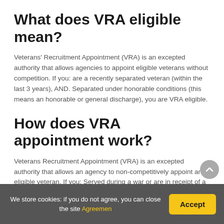What does VRA eligible mean?
Veterans' Recruitment Appointment (VRA) is an excepted authority that allows agencies to appoint eligible veterans without competition. If you: are a recently separated veteran (within the last 3 years), AND. Separated under honorable conditions (this means an honorable or general discharge), you are VRA eligible.
How does VRA appointment work?
Veterans Recruitment Appointment (VRA) is an excepted authority that allows an agency to non-competitively appoint an eligible veteran. If you: Served during a war or are in receipt of a campaign badge for service in a campaign or expedition; OR. are a recently separated veteran (within 3 years of discharge)
We store cookies: if you do not agree, you can close the site Agreemen